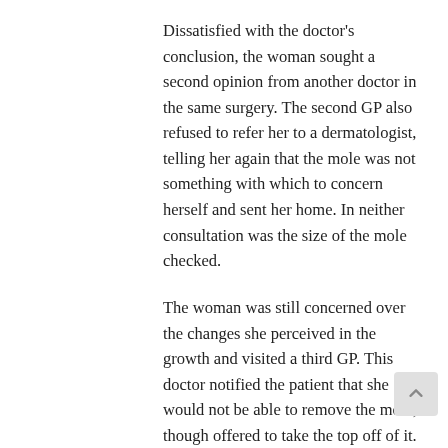Dissatisfied with the doctor's conclusion, the woman sought a second opinion from another doctor in the same surgery. The second GP also refused to refer her to a dermatologist, telling her again that the mole was not something with which to concern herself and sent her home. In neither consultation was the size of the mole checked.
The woman was still concerned over the changes she perceived in the growth and visited a third GP. This doctor notified the patient that she would not be able to remove the mole, though offered to take the top off of it. When the patient